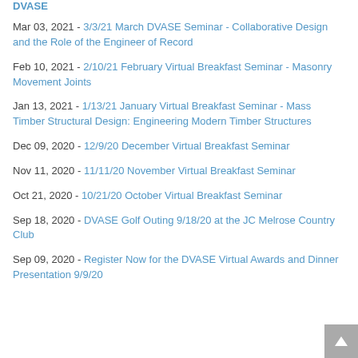Mar 03, 2021 - 3/3/21 March DVASE Seminar - Collaborative Design and the Role of the Engineer of Record
Feb 10, 2021 - 2/10/21 February Virtual Breakfast Seminar - Masonry Movement Joints
Jan 13, 2021 - 1/13/21 January Virtual Breakfast Seminar - Mass Timber Structural Design: Engineering Modern Timber Structures
Dec 09, 2020 - 12/9/20 December Virtual Breakfast Seminar
Nov 11, 2020 - 11/11/20 November Virtual Breakfast Seminar
Oct 21, 2020 - 10/21/20 October Virtual Breakfast Seminar
Sep 18, 2020 - DVASE Golf Outing 9/18/20 at the JC Melrose Country Club
Sep 09, 2020 - Register Now for the DVASE Virtual Awards and Dinner Presentation 9/9/20